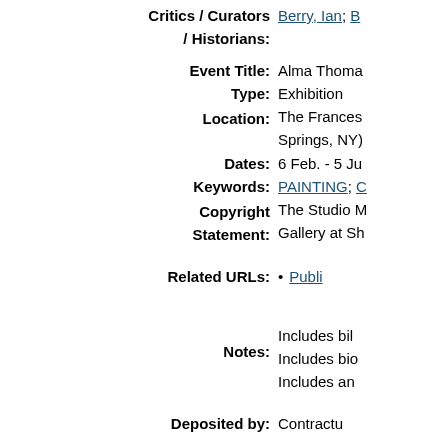Critics / Curators / Historians: Berry, Ian; [truncated]
Event Title: Alma Thoma[s truncated]
Type: Exhibition
Location: The Frances [truncated] Springs, NY[truncated]
Dates: 6 Feb. - 5 Ju[ne truncated]
Keywords: PAINTING; C[truncated]
Copyright Statement: The Studio M[useum truncated] Gallery at Sh[truncated]
Related URLs: Publi[cation truncated]
Notes: Includes bil[truncated] Includes bio[truncated] Includes an[truncated]
Deposited by: Contractu[truncated]